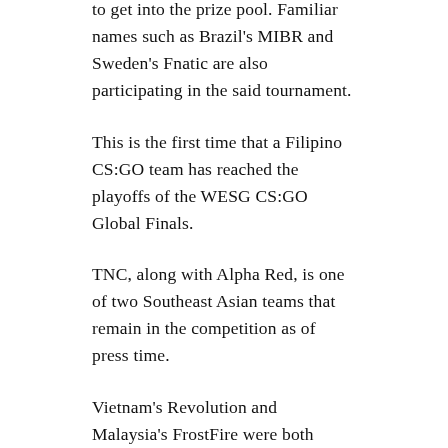to get into the prize pool. Familiar names such as Brazil's MIBR and Sweden's Fnatic are also participating in the said tournament.
This is the first time that a Filipino CS:GO team has reached the playoffs of the WESG CS:GO Global Finals.
TNC, along with Alpha Red, is one of two Southeast Asian teams that remain in the competition as of press time.
Vietnam's Revolution and Malaysia's FrostFire were both eliminated in the group stage.
SHARE THIS: